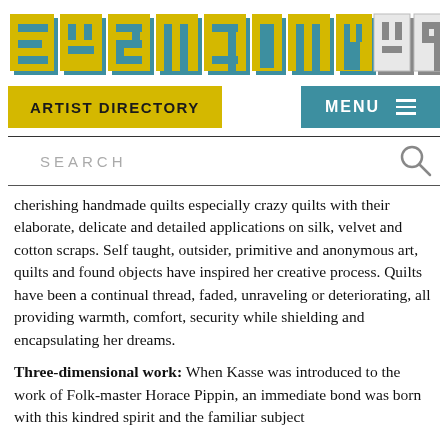[Figure (logo): EastCityArt logo with large block letters, yellow/teal color scheme with shadow effect]
ARTIST DIRECTORY | MENU
SEARCH
cherishing handmade quilts especially crazy quilts with their elaborate, delicate and detailed applications on silk, velvet and cotton scraps. Self taught, outsider, primitive and anonymous art, quilts and found objects have inspired her creative process. Quilts have been a continual thread, faded, unraveling or deteriorating, all providing warmth, comfort, security while shielding and encapsulating her dreams.
Three-dimensional work: When Kasse was introduced to the work of Folk-master Horace Pippin, an immediate bond was born with this kindred spirit and the familiar subject